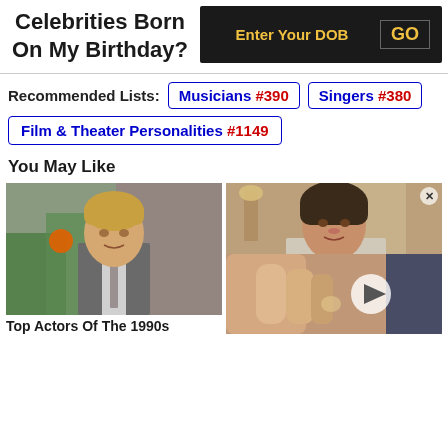Celebrities Born On My Birthday?
Enter Your DOB   GO
Recommended Lists:  Musicians #390  Singers #380
Film & Theater Personalities #1149
You May Like
[Figure (photo): Photo of a male actor with blonde hair in a suit, street background]
Top Actors Of The 1990s
[Figure (photo): Photo of a young woman with curly hair in period costume, lamp behind her, plus a video overlay showing close-up of hands with a play button]
T